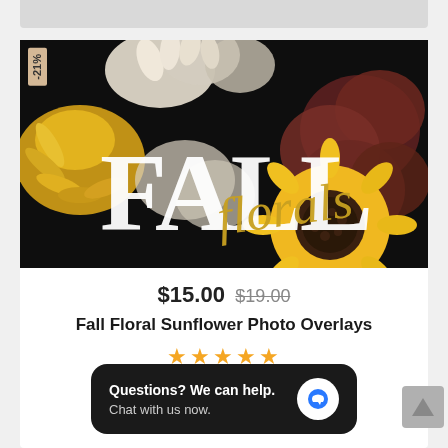[Figure (photo): Fall Floral Sunflower Photo Overlays product image on dark background with flowers and FALL Florals text overlay. A -21% discount badge is in the top-left corner.]
$15.00  $19.00
Fall Floral Sunflower Photo Overlays
★★★★★
Questions? We can help.
Chat with us now.